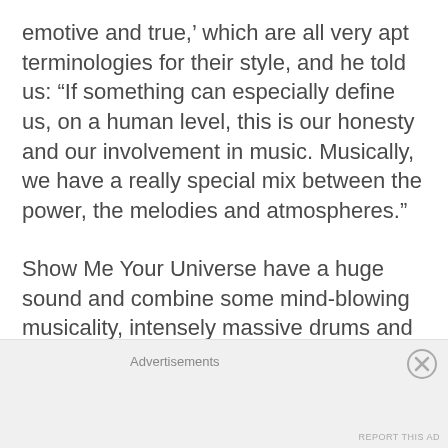emotive and true,' which are all very apt terminologies for their style, and he told us: “If something can especially define us, on a human level, this is our honesty and our involvement in music. Musically, we have a really special mix between the power, the melodies and atmospheres.”

Show Me Your Universe have a huge sound and combine some mind-blowing musicality, intensely massive drums and furious guitars with the scarily huge vocals of Jérémy Dubray. We’re looking f…
Advertisements